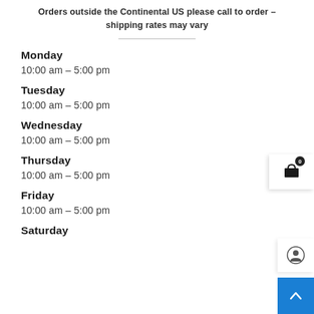Orders outside the Continental US please call to order – shipping rates may vary
Monday
10:00 am – 5:00 pm
Tuesday
10:00 am – 5:00 pm
Wednesday
10:00 am – 5:00 pm
Thursday
10:00 am – 5:00 pm
Friday
10:00 am – 5:00 pm
Saturday